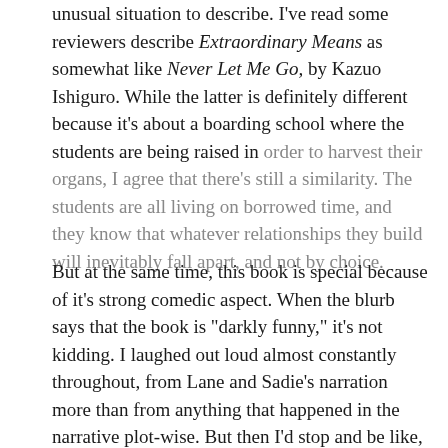unusual situation to describe. I've read some reviewers describe Extraordinary Means as somewhat like Never Let Me Go, by Kazuo Ishiguro. While the latter is definitely different because it's about a boarding school where the students are being raised in order to harvest their organs, I agree that there's still a similarity. The students are all living on borrowed time, and they know that whatever relationships they build will inevitably fall apart, and not by choice.
But at the same time, this book is special because of it's strong comedic aspect. When the blurb says that the book is "darkly funny," it's not kidding. I laughed out loud almost constantly throughout, from Lane and Sadie's narration more than from anything that happened in the narrative plot-wise. But then I'd stop and be like, "Um, these kids have terminal diseases. Some of these things that are cracking me up are